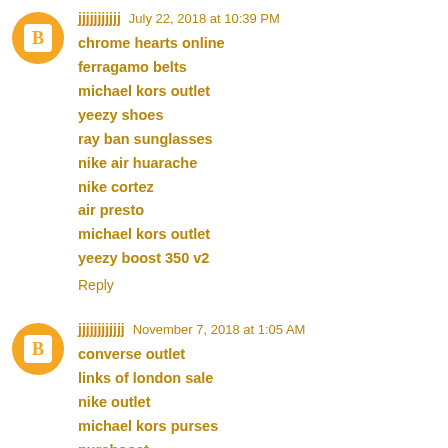jjjjjjjjjjj July 22, 2018 at 10:39 PM
chrome hearts online
ferragamo belts
michael kors outlet
yeezy shoes
ray ban sunglasses
nike air huarache
nike cortez
air presto
michael kors outlet
yeezy boost 350 v2
Reply
jjjjjjjjjjjj November 7, 2018 at 1:05 AM
converse outlet
links of london sale
nike outlet
michael kors purses
pureboost
yeezy boost 350 v2
jordan retro